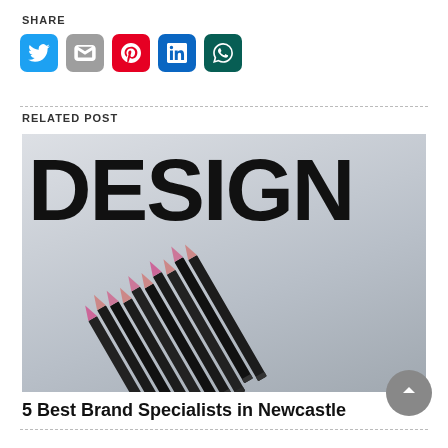SHARE
[Figure (infographic): Social share buttons: Twitter (blue), Gmail (grey), Pinterest (red), LinkedIn (blue), WhatsApp (dark green)]
RELATED POST
[Figure (photo): Photo showing the word DESIGN in large bold black text with a group of black pencils arranged diagonally on a light grey/white surface]
5 Best Brand Specialists in Newcastle